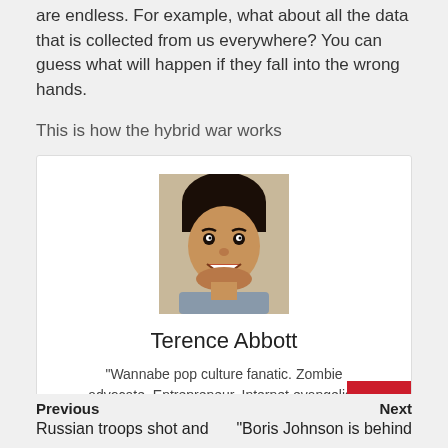are endless. For example, what about all the data that is collected from us everywhere? You can guess what will happen if they fall into the wrong hands.
This is how the hybrid war works
[Figure (photo): Portrait photo of Terence Abbott, a young man smiling, wearing a collared shirt.]
Terence Abbott
“Wannabe pop culture fanatic. Zombie advocate. Entrepreneur. Internet evangelist. Alcohol fanatic. Typical travel buff.”
Previous
Russian troops shot and
Next
“Boris Johnson is behind